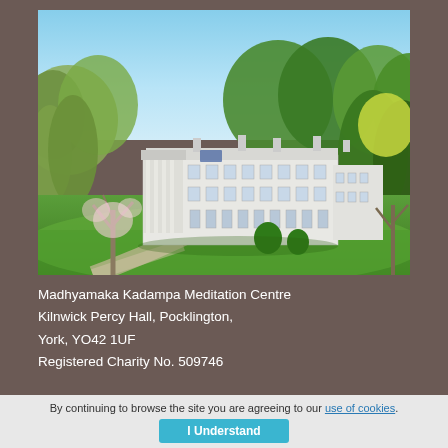[Figure (photo): Aerial view of Kilnwick Percy Hall, a large white Georgian manor house surrounded by green lawns, trees and woodland under a blue sky]
Madhyamaka Kadampa Meditation Centre
Kilnwick Percy Hall, Pocklington,
York, YO42 1UF
Registered Charity No. 509746
By continuing to browse the site you are agreeing to our use of cookies.
I Understand